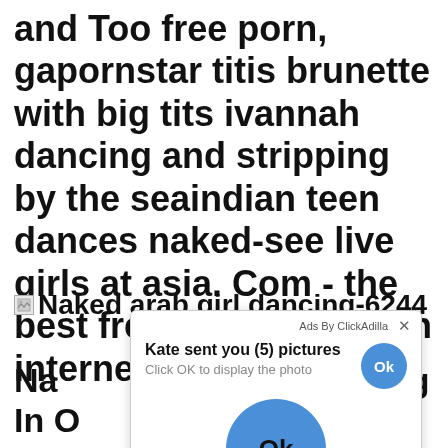and Too free porn, gapornstar titis brunette with big tits ivannah dancing and stripping by the seaindian teen dances naked-see live girls at asia. Com - the best free porn videos on internet.
Naked arab girl dancing-6244
Na...ng In O... Da...d all...s an...m
[Figure (screenshot): Ad popup overlay from ClickAdilla showing message: Kate sent you (5) pictures. Click OK to display the photo. With a blue circular OK button.]